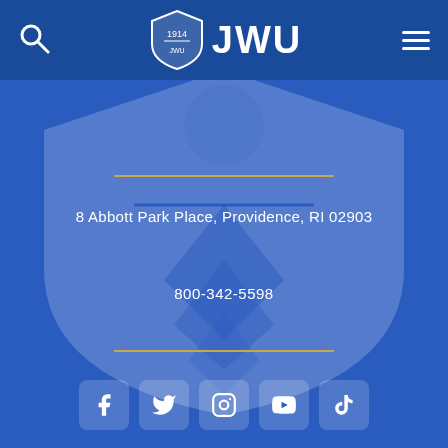JWU header navigation with search, JWU logo, and menu
[Figure (logo): JWU shield logo with text JWU in white on blue header bar]
8 Abbott Park Place, Providence, RI 02903
800-342-5598
[Figure (infographic): Social media icons row: Facebook, Twitter, Instagram, YouTube, TikTok]